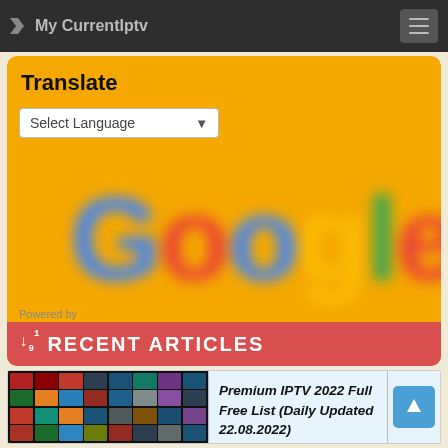My CurrentIptv
Translate
Select Language
[Figure (logo): Google logo, blurred, large text spelling 'Google' in brand colors on orange background]
Powered by
RECENT ARTICLES
[Figure (screenshot): Grid of IPTV channel logos/thumbnails, dark background]
Premium IPTV 2022 Full Free List (Daily Updated 22.08.2022)